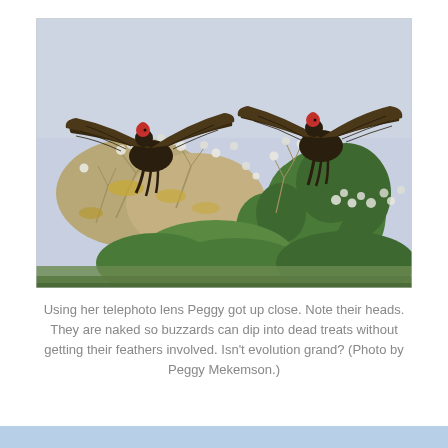[Figure (photo): Two turkey buzzards with red naked heads and wings spread wide, perched among scrubby dry and green shrubs under a pale blue sky.]
Using her telephoto lens Peggy got up close. Note their heads. They are naked so buzzards can dip into dead treats without getting their feathers involved. Isn't evolution grand? (Photo by Peggy Mekemson.)